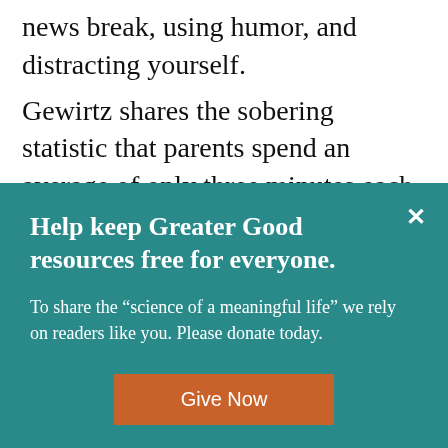news break, using humor, and distracting yourself.
Gewirtz shares the sobering statistic that parents spend an average of only three minutes each day talking with their kids. With this in mind, she shows parents how to listen, what to say, and how
Help keep Greater Good resources free for everyone.
To share the “science of a meaningful life” we rely on readers like you. Please donate today.
Give Now